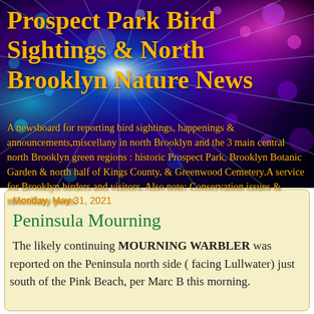[Figure (photo): Abstract colorful bokeh burst background with blue, purple, cyan, and magenta light streaks and glowing orbs on a dark background]
Prospect Park Bird Sightings & North Brooklyn Nature News
A newsboard for reporting bird sightings, happenings & announcements,miscellany in north Brooklyn and the 3 main central north Brooklyn green regions : historic Prospect Park, Brooklyn Botanic Garden & north half of Kings County, & Greenwood Cemetery.A service for Brooklyn birders and visitors. Also note: Conservation issues & miscellany posts.
Monday, May 31, 2021
Peninsula Mourning
The likely continuing MOURNING WARBLER was reported on the Peninsula north side ( facing Lullwater) just south of the Pink Beach, per Marc B this morning.